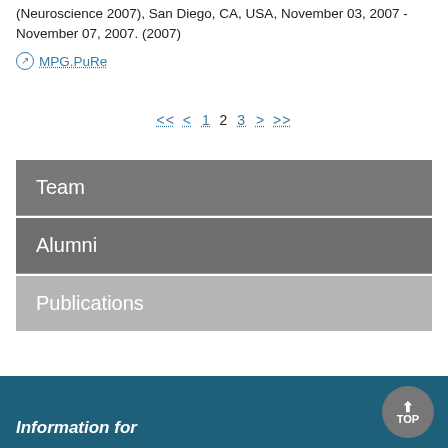(Neuroscience 2007), San Diego, CA, USA, November 03, 2007 - November 07, 2007. (2007)
MPG.PuRe
<< < 1 2 3 > >>
Team
Alumni
Publications
Information for